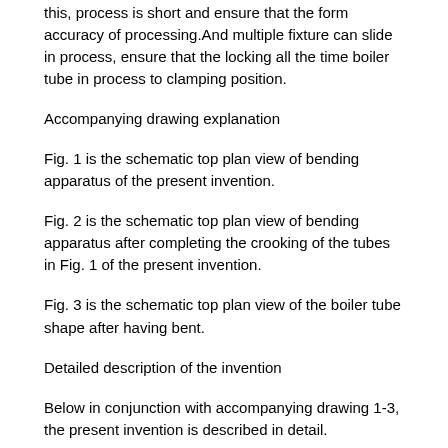this, process is short and ensure that the form accuracy of processing.And multiple fixture can slide in process, ensure that the locking all the time boiler tube in process to clamping position.
Accompanying drawing explanation
Fig. 1 is the schematic top plan view of bending apparatus of the present invention.
Fig. 2 is the schematic top plan view of bending apparatus after completing the crooking of the tubes in Fig. 1 of the present invention.
Fig. 3 is the schematic top plan view of the boiler tube shape after having bent.
Detailed description of the invention
Below in conjunction with accompanying drawing 1-3, the present invention is described in detail.
A kind ofly carry out stress relief annealing and with the U-shaped furnace tubing bending machining technique adding hot fluid heats, it uses a kind of crooking of the tubes equipment, described crooking of the tubes